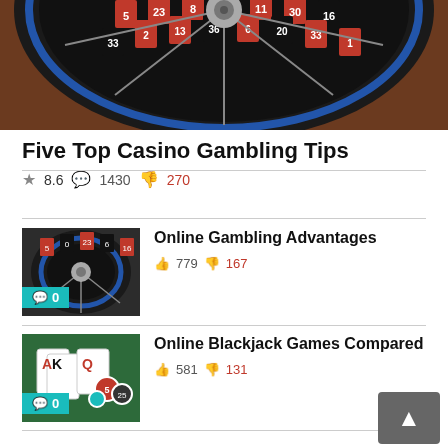[Figure (photo): Roulette wheel close-up photo showing red and black numbered slots with wooden rim, cropped at top of page]
Five Top Casino Gambling Tips
★ 8.6   1430   270
Online Gambling Advantages
779   167
Online Blackjack Games Compared
581   131
Risks With Online Gambling
543   125